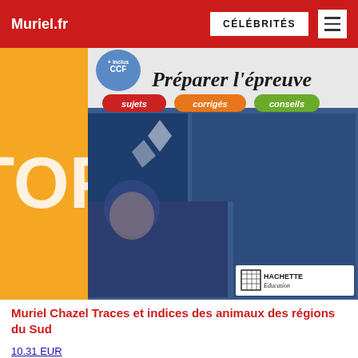Muriel.fr | CÉLÉBRITÉS
[Figure (photo): Book cover for 'Préparer l'épreuve' by Hachette Education, part of the TOP series. Shows text: 'Préparer l'épreuve', 'sujets', 'corrigés', 'conseils'. Features blue-tinted photos of students studying. Orange left panel with 'TOP' text. Hachette Education logo at bottom right. CCF badge at top.]
Muriel Chazel Traces et indices des animaux des régions du Sud
10.31 EUR